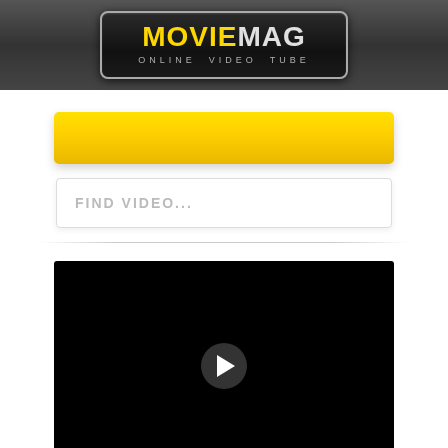[Figure (logo): MovieMag Online Video Tube logo on dark header bar]
[Figure (other): Yellow banner/button element]
FIND VIDEO...
[Figure (other): Black video player with play button]